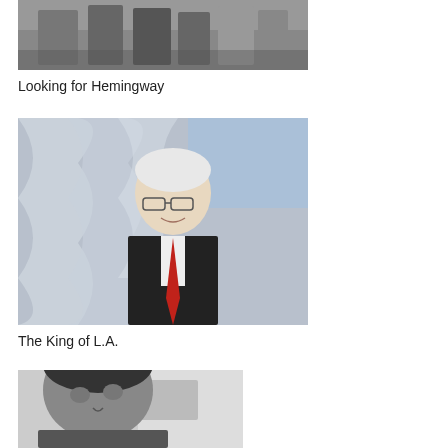[Figure (photo): Black and white photograph of a group of people standing outside a building, partially cropped at top]
Looking for Hemingway
[Figure (photo): Color photograph of an elderly man with white hair, wearing glasses, a dark suit and red tie, smiling in front of a building with distinctive white curved architectural elements]
The King of L.A.
[Figure (photo): Black and white photograph of a man looking downward, cropped at bottom, with a blurred background]